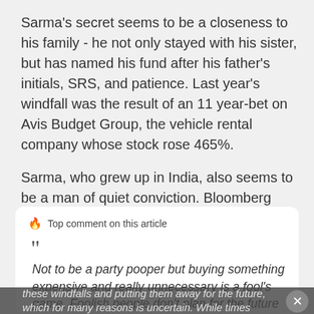Sarma's secret seems to be a closeness to his family - he not only stayed with his sister, but has named his fund after his father's initials, SRS, and patience. Last year's windfall was the result of an 11 year-bet on Avis Budget Group, the vehicle rental company whose stock rose 465%.
Sarma, who grew up in India, also seems to be a man of quiet conviction. Bloomberg reports that his investment in Avis reflects his belief that companies that can manage fleets of vehicles cost-effectively are the future of human transport.
🔥 Top comment on this article
Not to be a party pooper but buying something expensive and really unnecessary is a fool's game. Foolish people don't plan for the future by not taking these windfalls and putting them away for the future, which for many reasons is uncertain. While times